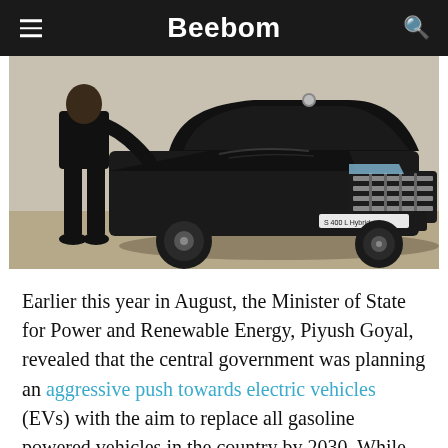Beebom
[Figure (photo): A person in a dark suit standing beside a black Mercedes-Benz S 400 L Hybrid luxury sedan, photographed from the front-left angle in an outdoor parking area.]
Earlier this year in August, the Minister of State for Power and Renewable Energy, Piyush Goyal, revealed that the central government was planning an aggressive push towards electric vehicles (EVs) with the aim to replace all gasoline powered vehicles in the country by 2030. While the Modi government's vision